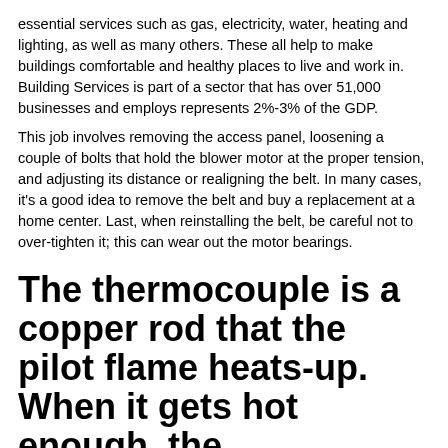essential services such as gas, electricity, water, heating and lighting, as well as many others. These all help to make buildings comfortable and healthy places to live and work in. Building Services is part of a sector that has over 51,000 businesses and employs represents 2%-3% of the GDP.
This job involves removing the access panel, loosening a couple of bolts that hold the blower motor at the proper tension, and adjusting its distance or realigning the belt. In many cases, it's a good idea to remove the belt and buy a replacement at a home center. Last, when reinstalling the belt, be careful not to over-tighten it; this can wear out the motor bearings.
The thermocouple is a copper rod that the pilot flame heats-up. When it gets hot enough, the thermocouple signals that